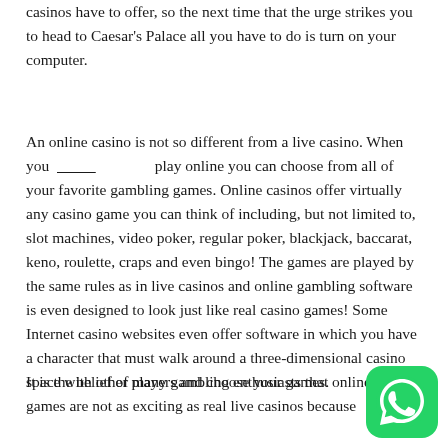casinos have to offer, so the next time that the urge strikes you to head to Caesar's Palace all you have to do is turn on your computer.
An online casino is not so different from a live casino. When you __________ play online you can choose from all of your favorite gambling games. Online casinos offer virtually any casino game you can think of including, but not limited to, slot machines, video poker, regular poker, blackjack, baccarat, keno, roulette, craps and even bingo! The games are played by the same rules as in live casinos and online gambling software is even designed to look just like real casino games! Some Internet casino websites even offer software in which you have a character that must walk around a three-dimensional casino space with other players and choose your games.
It is the belief of many gambling enthusiasts that online casino games are not as exciting as real live casinos because